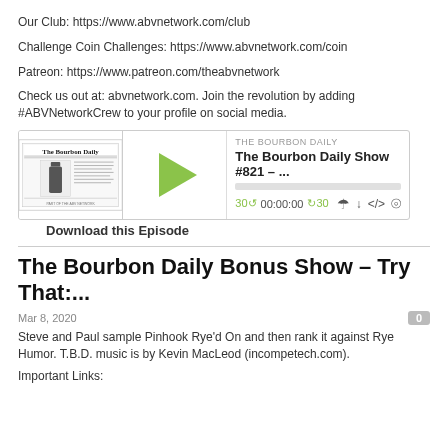Our Club: https://www.abvnetwork.com/club
Challenge Coin Challenges: https://www.abvnetwork.com/coin
Patreon: https://www.patreon.com/theabvnetwork
Check us out at: abvnetwork.com. Join the revolution by adding #ABVNetworkCrew to your profile on social media.
[Figure (screenshot): Podcast player widget for The Bourbon Daily Show #821 with newspaper logo thumbnail, green play button, progress bar, time display 00:00:00, and media control icons]
Download this Episode
The Bourbon Daily Bonus Show – Try That:...
Mar 8, 2020
Steve and Paul sample Pinhook Rye'd On and then rank it against Rye Humor. T.B.D. music is by Kevin MacLeod (incompetech.com).
Important Links: